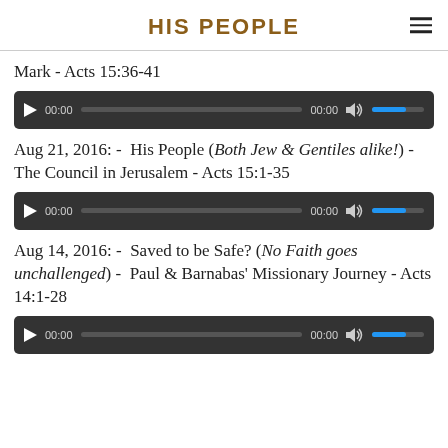HIS PEOPLE
Mark - Acts 15:36-41
[Figure (other): Audio player widget showing 00:00 time stamps and volume control]
Aug 21, 2016: -  His People (Both Jew & Gentiles alike!) -  The Council in Jerusalem - Acts 15:1-35
[Figure (other): Audio player widget showing 00:00 time stamps and volume control]
Aug 14, 2016: -  Saved to be Safe? (No Faith goes unchallenged) -  Paul & Barnabas' Missionary Journey - Acts 14:1-28
[Figure (other): Audio player widget showing 00:00 time stamps and volume control]